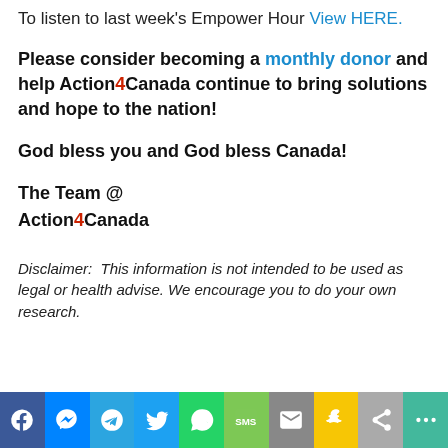To listen to last week's Empower Hour View HERE.
Please consider becoming a monthly donor and help Action4Canada continue to bring solutions and hope to the nation!
God bless you and God bless Canada!
The Team @ Action4Canada
Disclaimer: This information is not intended to be used as legal or health advise. We encourage you to do your own research.
[Figure (infographic): Social media sharing bar with icons for Facebook, Messenger, Telegram, Twitter, WhatsApp, SMS, Email, Snapchat, Share, and More]